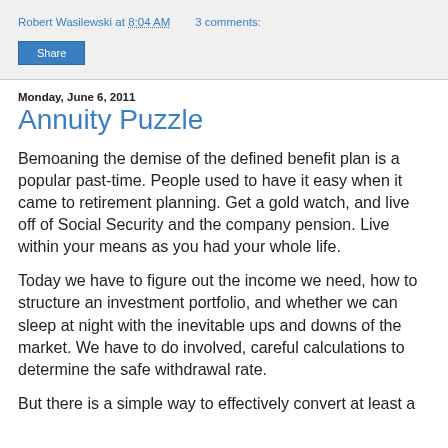Robert Wasilewski at 8:04 AM   3 comments:
Share
Monday, June 6, 2011
Annuity Puzzle
Bemoaning the demise of the defined benefit plan is a popular past-time. People used to have it easy when it came to retirement planning. Get a gold watch, and live off of Social Security and the company pension. Live within your means as you had your whole life.
Today we have to figure out the income we need, how to structure an investment portfolio, and whether we can sleep at night with the inevitable ups and downs of the market. We have to do involved, careful calculations to determine the safe withdrawal rate.
But there is a simple way to effectively convert at least a